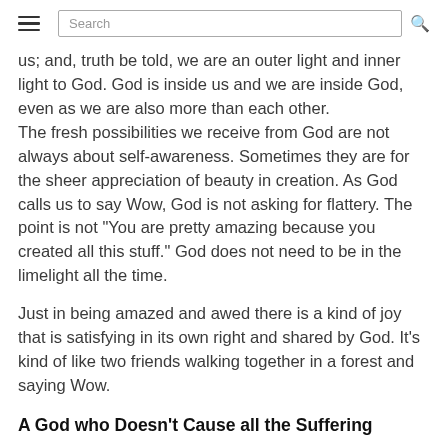Search
us; and, truth be told, we are an outer light and inner light to God.  God is inside us and we are inside God, even as we are also more than each other.
The fresh possibilities we receive from God are not always about self-awareness. Sometimes they are for the sheer appreciation of beauty in creation.  As God calls us to say Wow, God is not asking for flattery.  The point is not "You are pretty amazing because you created all this stuff."  God does not need to be in the limelight all the time.
Just in being amazed and awed there is a kind of joy that is satisfying in its own right and shared by God.  It's kind of like two friends walking together in a forest and saying Wow.
A God who Doesn't Cause all the Suffering